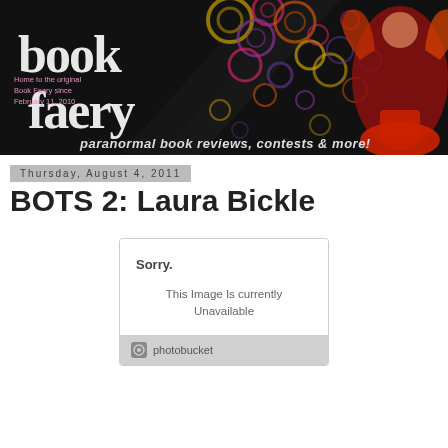[Figure (illustration): Book Faery website banner: dark background with colorful circles, decorative 'book faery' text logo, fairy illustration on right, tagline 'paranormal book reviews, contests & more!']
Thursday, August 4, 2011
BOTS 2: Laura Bickle
[Figure (screenshot): Photobucket image placeholder showing 'Sorry. This Image Is Currently Unavailable' with Photobucket logo footer]